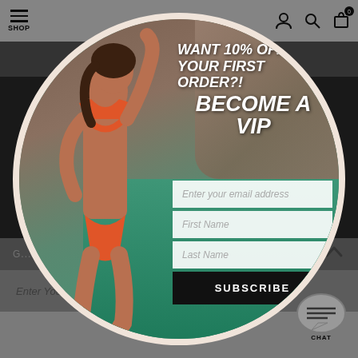[Figure (screenshot): E-commerce website screenshot showing a navigation bar with hamburger menu and SHOP label, user icon, search icon, and shopping bag icon with 0 badge. A modal popup appears as a circular overlay with a woman in an orange bikini standing near water and rocks. The modal contains a VIP discount offer headline and email signup form. Background shows a dark website with an email subscription bar and chat button.]
WANT 10% OFF YOUR FIRST ORDER?! BECOME A VIP
Enter your email address
First Name
Last Name
SUBSCRIBE
Enter Your Email Address
CHAT